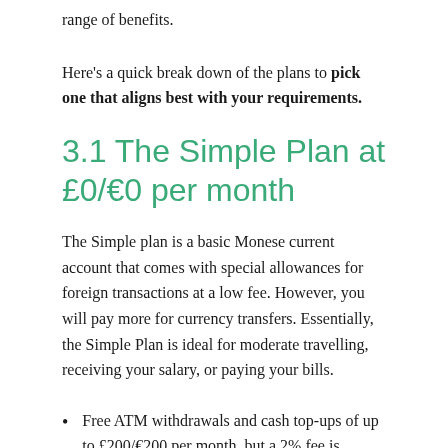range of benefits.
Here's a quick break down of the plans to pick one that aligns best with your requirements.
3.1 The Simple Plan at £0/€0 per month
The Simple plan is a basic Monese current account that comes with special allowances for foreign transactions at a low fee. However, you will pay more for currency transfers. Essentially, the Simple Plan is ideal for moderate travelling, receiving your salary, or paying your bills.
Free ATM withdrawals and cash top-ups of up to £200/€200 per month, but a 2% fee is applicable